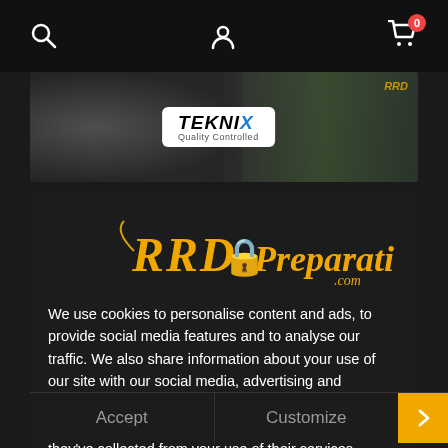Navigation bar with search, account, and cart icons
[Figure (screenshot): Teknix product banner image showing a wheel/tire product with Teknix logo]
[Figure (logo): RRD-Preparation.com logo in gold italic script with a padlock icon]
We use cookies to personalise content and ads, to provide social media features and to analyse our traffic. We also share information about your use of our site with our social media, advertising and analytics partners who may combine it with other information that you've provided to them or that they've collected from your use of their services.
Accept
Customize